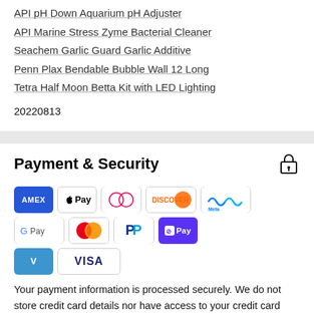API pH Down Aquarium pH Adjuster
API Marine Stress Zyme Bacterial Cleaner
Seachem Garlic Guard Garlic Additive
Penn Plax Bendable Bubble Wall 12 Long
Tetra Half Moon Betta Kit with LED Lighting
20220813
Payment & Security
[Figure (infographic): Payment method icons: Amex, Apple Pay, Diners Club, Discover, Meta Pay, Google Pay, Mastercard, PayPal, Shop Pay, Venmo, Visa]
Your payment information is processed securely. We do not store credit card details nor have access to your credit card information.